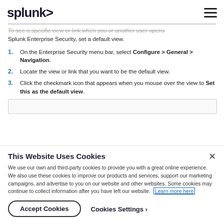splunk>
To see a specific view or link when you or another user opens Splunk Enterprise Security, set a default view.
1. On the Enterprise Security menu bar, select Configure > General > Navigation.
2. Locate the view or link that you want to be the default view.
3. Click the checkmark icon that appears when you mouse over the view to Set this as the default view.
[Figure (screenshot): Partial screenshot showing UI elements]
This Website Uses Cookies
We use our own and third-party cookies to provide you with a great online experience. We also use these cookies to improve our products and services, support our marketing campaigns, and advertise to you on our website and other websites. Some cookies may continue to collect information after you have left our website. Learn more here
Accept Cookies   Cookies Settings ›